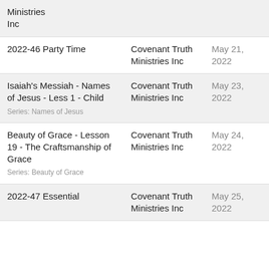| Title | Publisher | Date |
| --- | --- | --- |
| Ministries Inc | Covenant Truth Ministries Inc |  |
| 2022-46 Party Time | Covenant Truth Ministries Inc | May 21, 2022 |
| Isaiah's Messiah - Names of Jesus - Less 1 - Child
Series: Names of Jesus | Covenant Truth Ministries Inc | May 23, 2022 |
| Beauty of Grace - Lesson 19 - The Craftsmanship of Grace
Series: Beauty of Grace | Covenant Truth Ministries Inc | May 24, 2022 |
| 2022-47 Essential | Covenant Truth Ministries Inc | May 25, 2022 |